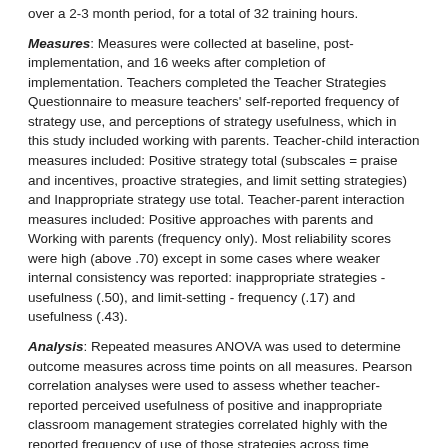over a 2-3 month period, for a total of 32 training hours.
Measures: Measures were collected at baseline, post-implementation, and 16 weeks after completion of implementation. Teachers completed the Teacher Strategies Questionnaire to measure teachers' self-reported frequency of strategy use, and perceptions of strategy usefulness, which in this study included working with parents. Teacher-child interaction measures included: Positive strategy total (subscales = praise and incentives, proactive strategies, and limit setting strategies) and Inappropriate strategy use total. Teacher-parent interaction measures included: Positive approaches with parents and Working with parents (frequency only). Most reliability scores were high (above .70) except in some cases where weaker internal consistency was reported: inappropriate strategies - usefulness (.50), and limit-setting - frequency (.17) and usefulness (.43).
Analysis: Repeated measures ANOVA was used to determine outcome measures across time points on all measures. Pearson correlation analyses were used to assess whether teacher-reported perceived usefulness of positive and inappropriate classroom management strategies correlated highly with the reported frequency of use of those strategies across time periods.